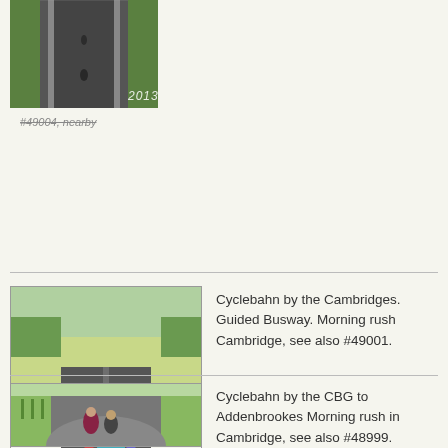[Figure (photo): Aerial view of a cyclebahn/guided busway path, 2013]
#49004, nearby
[Figure (photo): Cyclebahn by the Cambridgeshire Guided Busway. Morning rush hour into Cambridge, 2013]
Cyclebahn by the Cambridges. Guided Busway. Morning rush Cambridge, see also #49001.
#49002, nearby
[Figure (photo): Cyclebahn by the CBG to Addenbrookes Morning rush in Cambridge, 2013]
Cyclebahn by the CBG to Addenbrookes Morning rush in Cambridge, see also #48999.